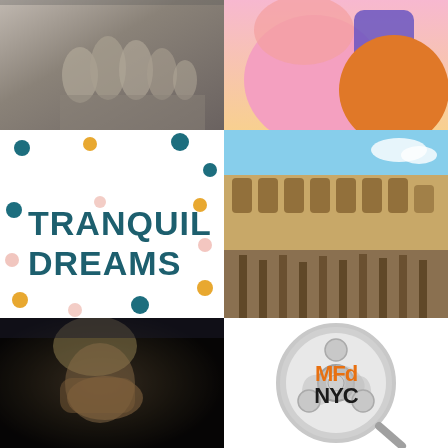[Figure (photo): Black and white close-up photo of toes/feet]
[Figure (illustration): Colorful cartoon illustration with pink and orange characters]
[Figure (infographic): White background with colorful polka dots and bold teal text reading TRANQUIL DREAMS]
[Figure (photo): Photo of the interior of the Roman Colosseum showing the arena floor and underground hypogeum]
[Figure (photo): Dark photo of a young person with blonde hair covering their face with their hand]
[Figure (logo): MFd NYC logo with a film reel graphic in silver/grey and orange and black text MFd NYC inside]